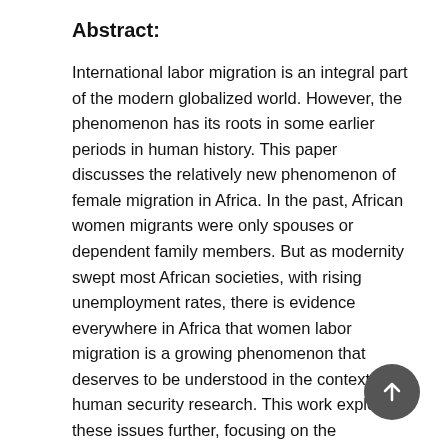Abstract:
International labor migration is an integral part of the modern globalized world. However, the phenomenon has its roots in some earlier periods in human history. This paper discusses the relatively new phenomenon of female migration in Africa. In the past, African women migrants were only spouses or dependent family members. But as modernity swept most African societies, with rising unemployment rates, there is evidence everywhere in Africa that women labor migration is a growing phenomenon that deserves to be understood in the context of human security research. This work explores these issues further, focusing on the experience of Ethiopian women labor migrants to Sudan. The migration of Ethiopian people to Sudan is historical; nevertheless, labor migration mainly started since the discovery and subsequent